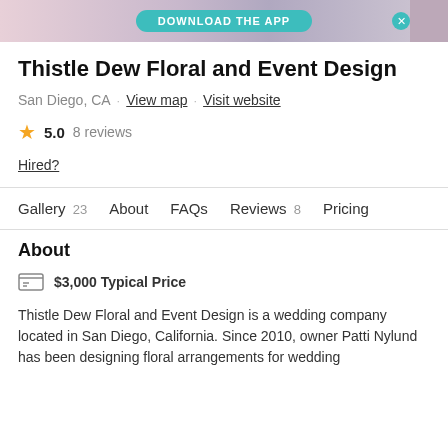[Figure (screenshot): App download banner with teal button and decorative background image on right]
Thistle Dew Floral and Event Design
San Diego, CA · View map · Visit website
★ 5.0  8 reviews
Hired?
Gallery 23   About   FAQs   Reviews 8   Pricing
About
$3,000 Typical Price
Thistle Dew Floral and Event Design is a wedding company located in San Diego, California. Since 2010, owner Patti Nylund has been designing floral arrangements for wedding